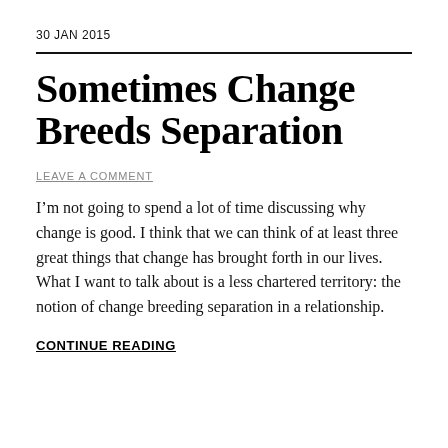30 JAN 2015
Sometimes Change Breeds Separation
LEAVE A COMMENT
I’m not going to spend a lot of time discussing why change is good. I think that we can think of at least three great things that change has brought forth in our lives. What I want to talk about is a less chartered territory: the notion of change breeding separation in a relationship.
CONTINUE READING